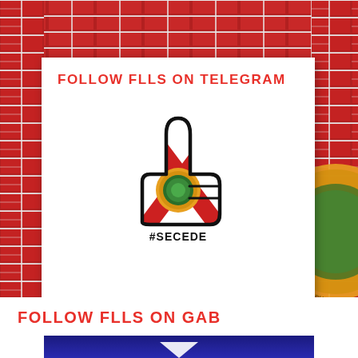[Figure (illustration): Brick wall background with Florida state flag colors (red and white), brick pattern visible around the edges and background]
FOLLOW FLLS ON TELEGRAM
[Figure (illustration): Thumbs up icon shaped with Florida state flag design (red X on white with state seal in center), with #SECEDE text below]
FOLLOW FLLS ON GAB
[Figure (illustration): Blue background image partially visible at bottom, appears to be a logo or graphic with white triangular shape]